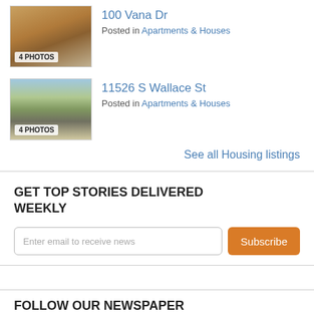100 Vana Dr — Posted in Apartments & Houses — 4 PHOTOS
11526 S Wallace St — Posted in Apartments & Houses — 4 PHOTOS
See all Housing listings
GET TOP STORIES DELIVERED WEEKLY
Enter email to receive news  Subscribe
FOLLOW OUR NEWSPAPER